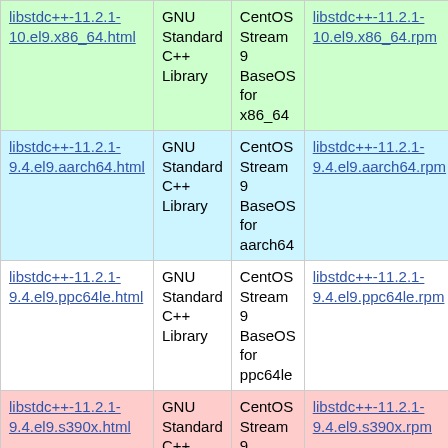| libstdc++-11.2.1-10.el9.x86_64.html | GNU Standard C++ Library | CentOS Stream 9 BaseOS for x86_64 | libstdc++-11.2.1-10.el9.x86_64.rpm |
| libstdc++-11.2.1-9.4.el9.aarch64.html | GNU Standard C++ Library | CentOS Stream 9 BaseOS for aarch64 | libstdc++-11.2.1-9.4.el9.aarch64.rpm |
| libstdc++-11.2.1-9.4.el9.ppc64le.html | GNU Standard C++ Library | CentOS Stream 9 BaseOS for ppc64le | libstdc++-11.2.1-9.4.el9.ppc64le.rpm |
| libstdc++-11.2.1-9.4.el9.s390x.html | GNU Standard C++ Library | CentOS Stream 9 BaseOS for s390x | libstdc++-11.2.1-9.4.el9.s390x.rpm |
| libstdc++-11.2.1-9.4.el9.x86_64.html | GNU Standard C++ Library | CentOS Stream 9 BaseOS for x86_64 | libstdc++-11.2.1-9.4.el9.x86_64.rpm |
| ... | GNU Standard C++ Library | CentOS ... | ... |